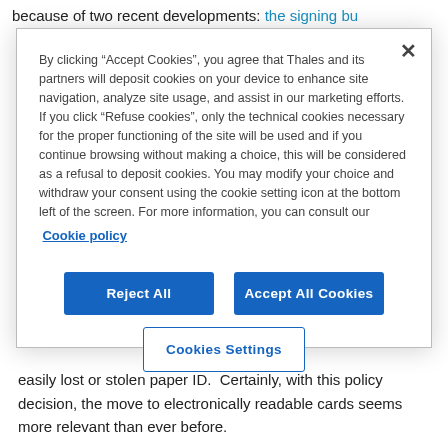because of two recent developments: the signing bu
By clicking “Accept Cookies”, you agree that Thales and its partners will deposit cookies on your device to enhance site navigation, analyze site usage, and assist in our marketing efforts. If you click “Refuse cookies”, only the technical cookies necessary for the proper functioning of the site will be used and if you continue browsing without making a choice, this will be considered as a refusal to deposit cookies. You may modify your choice and withdraw your consent using the cookie setting icon at the bottom left of the screen. For more information, you can consult our Cookie policy
Reject All
Accept All Cookies
Cookies Settings
easily lost or stolen paper ID.  Certainly, with this policy decision, the move to electronically readable cards seems more relevant than ever before.